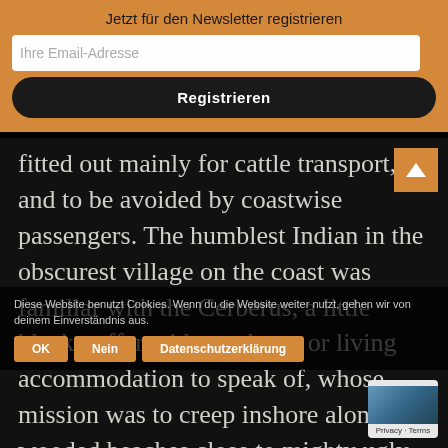Jetzt für den Newsletter registrieren
Ihre Email-Adresse
Registrieren
fitted out mainly for cattle transport, and to be avoided by coastwise passengers. The humblest Indian in the obscurest village on the coast was familiar with the Cerberus, a little black puffer without charm or living accommodation to speak of, whose mission was to creep inshore along the wooded beaches close to mighty ugly rocks, stopping obligingly before every cluster of huts to collect produce, down to three-pound parcels of
Diese Website benutzt Cookies. Wenn du die Website weiter nutzt, gehen wir von deinem Einverständnis aus.
OK
Nein
Datenschutzerklärung